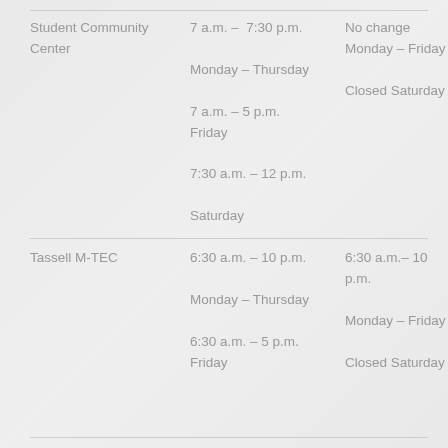| Location | Current Hours | New Hours |
| --- | --- | --- |
| Student Community Center | 7 a.m. – 7:30 p.m.
Monday – Thursday
7 a.m. – 5 p.m.
Friday
7:30 a.m. – 12 p.m.
Saturday | No change
Monday – Friday

Closed Saturday |
| Tassell M-TEC | 6:30 a.m. – 10 p.m.
Monday – Thursday
6:30 a.m. – 5 p.m.
Friday | 6:30 a.m.– 10 p.m.
Monday – Friday

Closed Saturday |